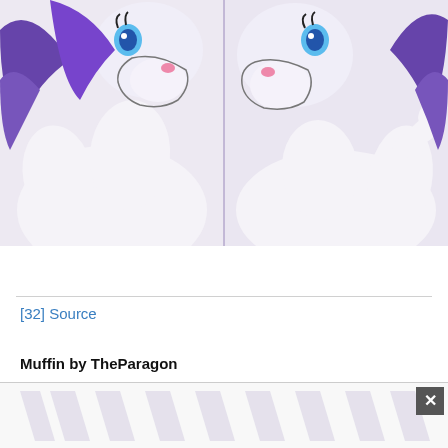[Figure (illustration): Anime/cartoon style illustration of a white pony character with purple hair and blue eyes, shown in two side-by-side panels. The character appears to be Rarity from My Little Pony fan art.]
[32] Source
Muffin by TheParagon
[Figure (illustration): Bottom partial image showing light watermark/logo shapes on white background with a close/dismiss button (X) in the upper right corner.]